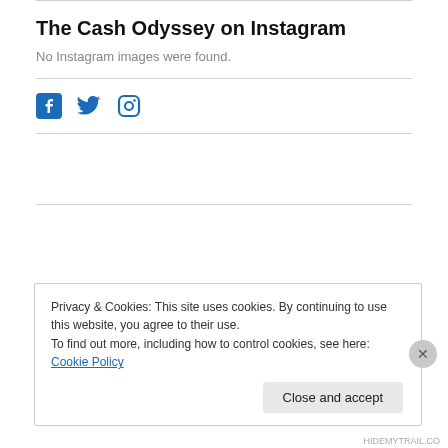The Cash Odyssey on Instagram
No Instagram images were found.
[Figure (other): Social media icons: Facebook, Twitter, Instagram in blue]
Privacy & Cookies: This site uses cookies. By continuing to use this website, you agree to their use.
To find out more, including how to control cookies, see here: Cookie Policy
Close and accept